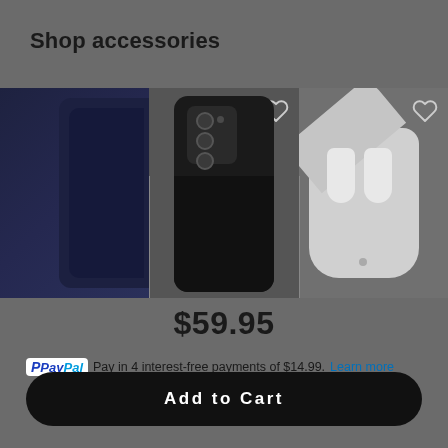Shop accessories
[Figure (photo): Three product images in a horizontal row: left shows a partial dark navy phone case, middle shows a black phone case with camera cutout for Samsung Galaxy Note 20, right shows white AirPods in an open charging case. Heart/wishlist icons appear on the middle and right cards.]
$59.95
PayPal  Pay in 4 interest-free payments of $14.99.  Learn more
Add to Cart